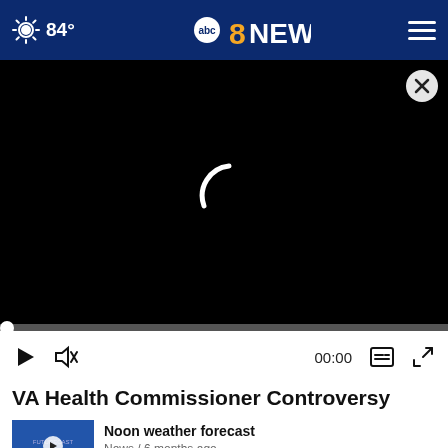84° abc8NEWS navigation bar
[Figure (screenshot): Black video player with loading spinner and close button, showing 00:00 timestamp with play, mute, captions, and fullscreen controls]
VA Health Commissioner Controversy
[Figure (screenshot): Thumbnail for Noon weather forecast video with play button overlay showing weather forecast imagery]
Noon weather forecast
News / 6 months ago